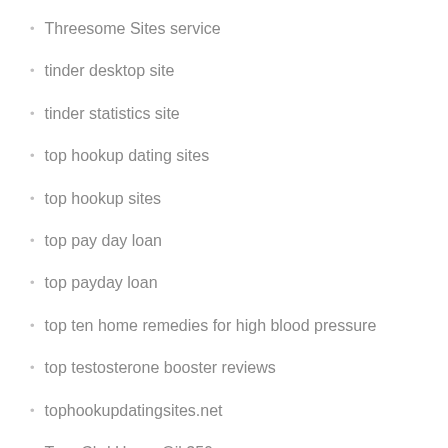Threesome Sites service
tinder desktop site
tinder statistics site
top hookup dating sites
top hookup sites
top pay day loan
top payday loan
top ten home remedies for high blood pressure
top testosterone booster reviews
tophookupdatingsites.net
True Cbd Hemp Oil 350
type 2 diabetes blood sugar high in the morning